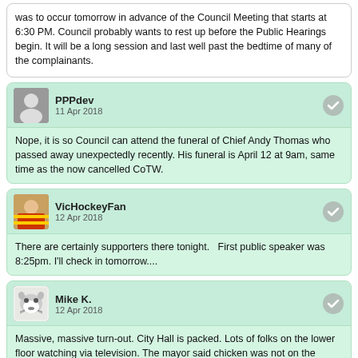was to occur tomorrow in advance of the Council Meeting that starts at 6:30 PM. Council probably wants to rest up before the Public Hearings begin. It will be a long session and last well past the bedtime of many of the complainants.
PPPdev
11 Apr 2018

Nope, it is so Council can attend the funeral of Chief Andy Thomas who passed away unexpectedly recently. His funeral is April 12 at 9am, same time as the now cancelled CoTW.
VicHockeyFan
12 Apr 2018

There are certainly supporters there tonight.   First public speaker was 8:25pm. I'll check in tomorrow....
Mike K.
12 Apr 2018

Massive, massive turn-out. City Hall is packed. Lots of folks on the lower floor watching via television. The mayor said chicken was not on the menu tonight.